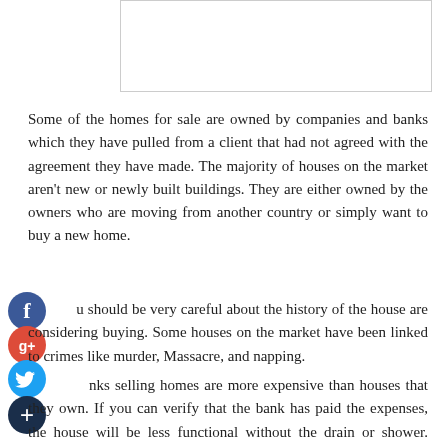[Figure (other): Empty white box outline at top of page]
Some of the homes for sale are owned by companies and banks which they have pulled from a client that had not agreed with the agreement they have made. The majority of houses on the market aren't new or newly built buildings. They are either owned by the owners who are moving from another country or simply want to buy a new home.
[Figure (other): Social media icons: Facebook (blue circle with f), Google+ (red circle with g+), Twitter (blue circle with bird), and a dark blue plus/add button]
u should be very careful about the history of the house are considering buying. Some houses on the market have been linked to crimes like murder, Massacre, and napping.
nks selling homes are more expensive than houses that they own. If you can verify that the bank has paid the expenses, the house will be less functional without the drain or shower. Although a beautiful home will cost more than